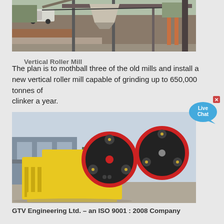[Figure (photo): Outdoor industrial milling plant with overhead conveyor structures, a hopper, and brick retaining wall. A white vehicle is visible in the background.]
Vertical Roller Mill
The plan is to mothball three of the old mills and install a new vertical roller mill capable of grinding up to 650,000 tonnes of clinker a year.
[Figure (photo): A large yellow jaw crusher machine with two large black and red flywheel discs, photographed outdoors with industrial buildings in the background.]
GTV Engineering Ltd. – an ISO 9001 : 2008 Company